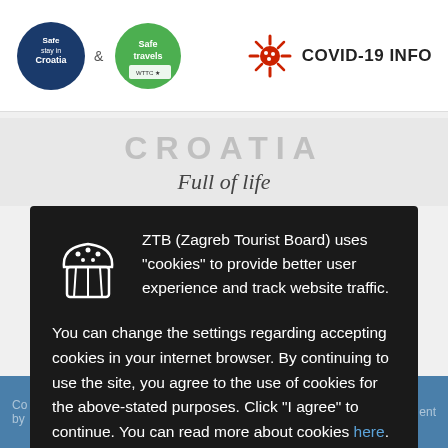[Figure (logo): Safe stay in Croatia blue circular logo and Safe Travels green circular logo with partnership badges, with ampersand between them]
[Figure (logo): Red COVID-19 virus icon followed by bold text COVID-19 INFO]
[Figure (screenshot): Croatia Full of life tourism branding - grey faded text CROATIA with italic Full of life slogan below]
ZTB (Zagreb Tourist Board) uses "cookies" to provide better user experience and track website traffic. You can change the settings regarding accepting cookies in your internet browser. By continuing to use the site, you agree to the use of cookies for the above-stated purposes. Click "I agree" to continue. You can read more about cookies here.
[Figure (illustration): White outlined cookie/muffin icon on dark background]